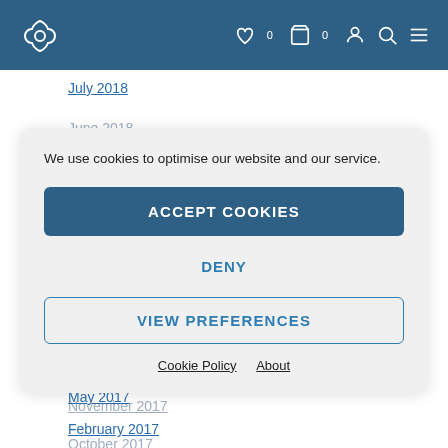Site header with logo and navigation icons
July 2018
June 2018
May 2018
We use cookies to optimise our website and our service.
April 2018
February 2018
January 2018
December 2017
November 2017
October 2017
August 2017
June 2017
May 2017
February 2017